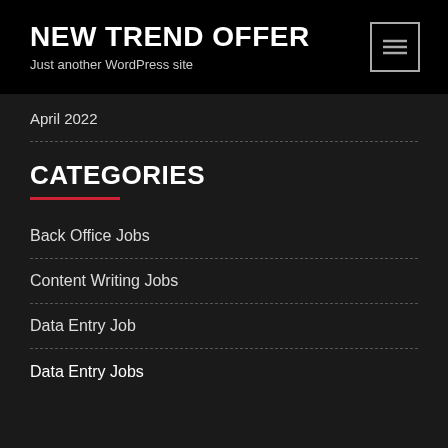NEW TREND OFFER
Just another WordPress site
April 2022
CATEGORIES
Back Office Jobs
Content Writing Jobs
Data Entry Job
Data Entry Jobs